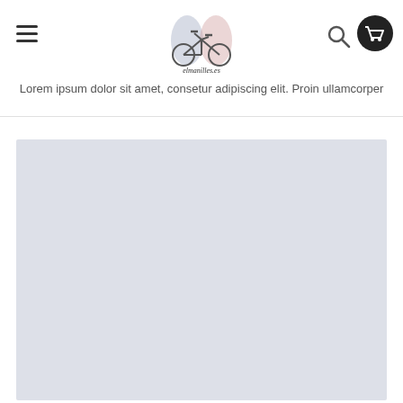Navigation header with menu icon, elmanilles.es logo, search icon, and cart icon
Lorem ipsum dolor sit amet, consetur adipiscing elit. Proin ullamcorper
[Figure (photo): Large light blue-grey placeholder image area]